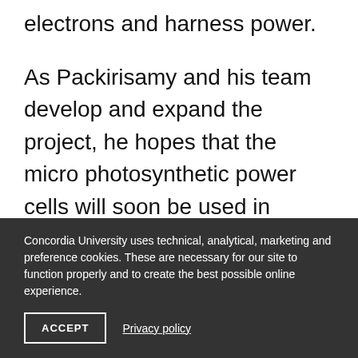electrons and harness power.
As Packirisamy and his team develop and expand the project, he hopes that the micro photosynthetic power cells will soon be used in various applications, such as powering cell phones and computers. And maybe one day they'll power the world.
Concordia University uses technical, analytical, marketing and preference cookies. These are necessary for our site to function properly and to create the best possible online experience.
ACCEPT
Privacy policy